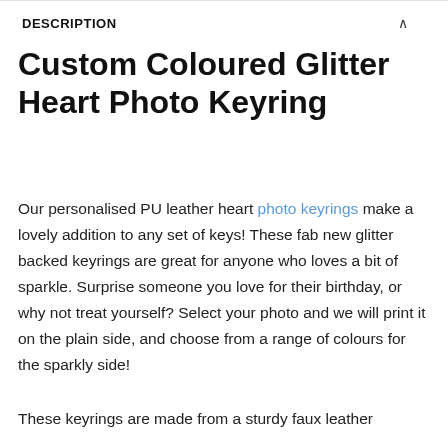DESCRIPTION
Custom Coloured Glitter Heart Photo Keyring
Our personalised PU leather heart photo keyrings make a lovely addition to any set of keys! These fab new glitter backed keyrings are great for anyone who loves a bit of sparkle. Surprise someone you love for their birthday, or why not treat yourself? Select your photo and we will print it on the plain side, and choose from a range of colours for the sparkly side!
These keyrings are made from a sturdy faux leather